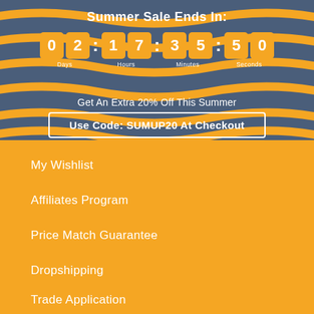Summer Sale Ends In:
02 17 : 35 : 50 Days Hours Minutes Seconds
Get An Extra 20% Off This Summer
Use Code: SUMUP20 At Checkout
My Wishlist
Affiliates Program
Price Match Guarantee
Dropshipping
Trade Application